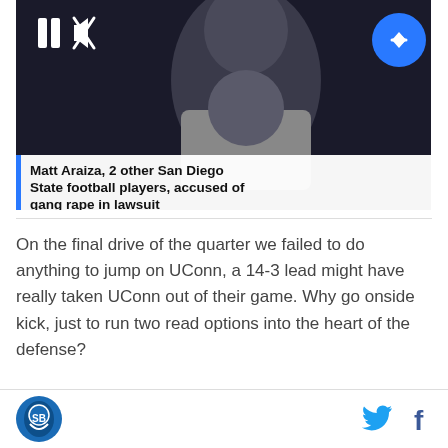[Figure (screenshot): Video player thumbnail showing a person in a white shirt against a dark background, with pause and mute controls visible, and a blue circular arrow/next button. A caption overlay reads the news headline.]
Matt Araiza, 2 other San Diego State football players, accused of gang rape in lawsuit
On the final drive of the quarter we failed to do anything to jump on UConn, a 14-3 lead might have really taken UConn out of their game. Why go onside kick, just to run two read options into the heart of the defense?
Overall Offensive details:
[Figure (logo): Circular logo with blue background showing a stylized animal/mascot]
[Figure (illustration): Twitter bird icon in cyan/blue color and Facebook 'f' icon in dark color, social media sharing icons]